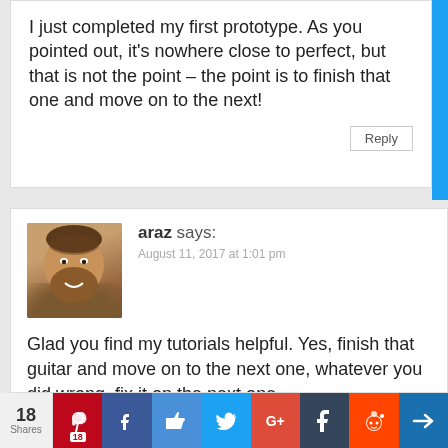I just completed my first prototype. As you pointed out, it's nowhere close to perfect, but that is not the point – the point is to finish that one and move on to the next!
Reply
araz says: August 11, 2017 at 1:01 pm
Glad you find my tutorials helpful. Yes, finish that guitar and move on to the next one, whatever you did wrong, fix it on the next one.
Take care, Araz
18 Shares  [Pinterest 18] [Facebook] [Like] [Twitter] [G+] [Tumblr] [Reddit] [More]